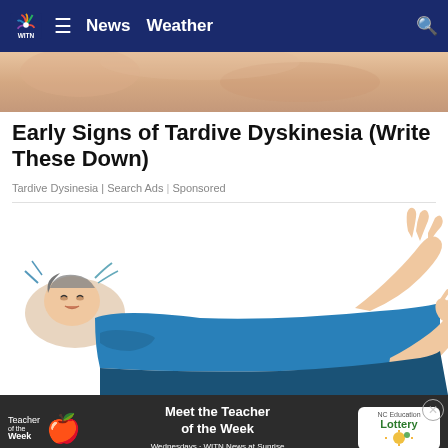WITN News Weather
[Figure (photo): Close-up photo of skin, partially visible at top of page, flesh-toned]
Early Signs of Tardive Dyskinesia (Write These Down)
Tardive Dysinesia | Search Ads | Sponsored
[Figure (illustration): Illustration of a person in blue clothing lying down with arms raised, depicting symptoms of tardive dyskinesia]
[Figure (infographic): Advertisement banner: Teacher of the Week - Meet the Teacher of the Week - Wednesdays - WITN News at Sunrise - NC Education Lottery]